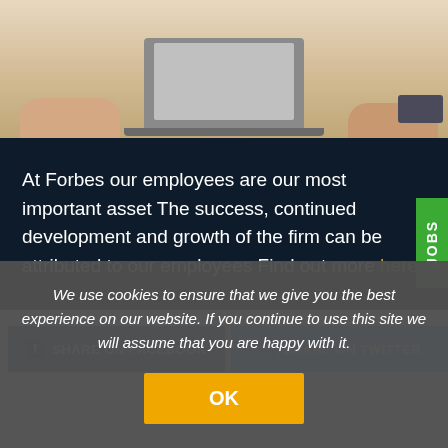[Figure (photo): Photo of people sitting around a table with a laptop, shot from above showing hands and torsos]
At Forbes our employees are our most important asset The success, continued development and growth of the firm can be attributed to our employees Find out more here
SHARE ON FACEBOOK
SHARE ON TWITTER
We use cookies to ensure that we give you the best experience on our website. If you continue to use this site we will assume that you are happy with it.
OK